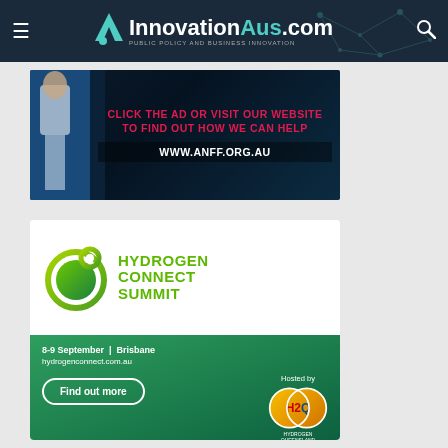InnovationAus.com — PUBLIC POLICY AND BUSINESS INNOVATION
[Figure (infographic): ANFF advertisement banner: 'CLICK THE AD OR VISIT OUR WEBSITE TO FIND OUT HOW WE CAN HELP' with URL WWW.ANFF.ORG.AU]
[Figure (infographic): Hydrogen Connect Summit advertisement: 8-9 September, Brisbane, hydrogenconnect.com.au, Find out more, Hosted by H2Q Hydrogen Queensland]